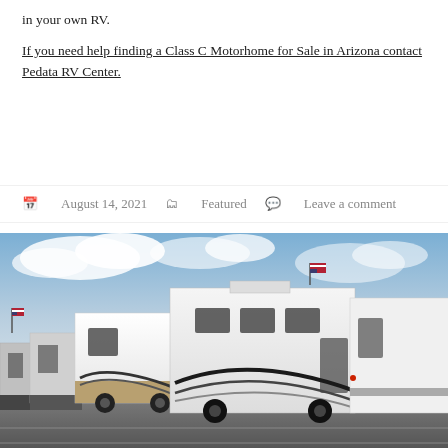in your own RV.
If you need help finding a Class C Motorhome for Sale in Arizona contact Pedata RV Center.
August 14, 2021   Featured   Leave a comment
[Figure (photo): A row of white motorhomes/RVs parked in a lot under a partly cloudy sky, with an American flag visible. Multiple Class C and Class A motorhomes lined up side by side.]